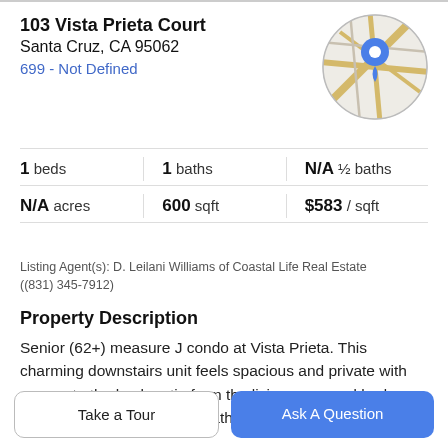103 Vista Prieta Court
Santa Cruz, CA 95062
699 - Not Defined
[Figure (map): Circular map thumbnail with location pin marker showing street map view]
1 beds | 1 baths | N/A ½ baths | N/A acres | 600 sqft | $583 / sqft
Listing Agent(s): D. Leilani Williams of Coastal Life Real Estate ((831) 345-7912)
Property Description
Senior (62+) measure J condo at Vista Prieta. This charming downstairs unit feels spacious and private with access to the back patio from the living room and bedroom. Condo has 2 bedrooms, 1 bathroom, laminate
Take a Tour
Ask A Question